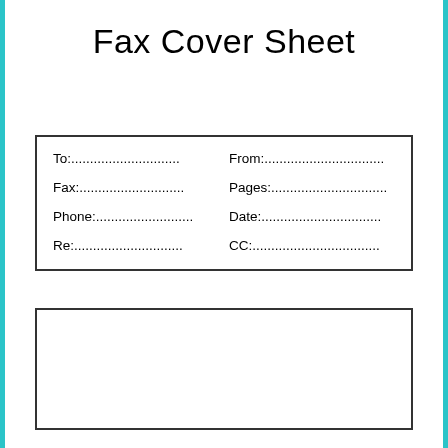Fax Cover Sheet
| To:.............................. | From:............................... |
| Fax:............................. | Pages:.............................. |
| Phone:......................... | Date:............................... |
| Re:.............................. | CC:................................. |